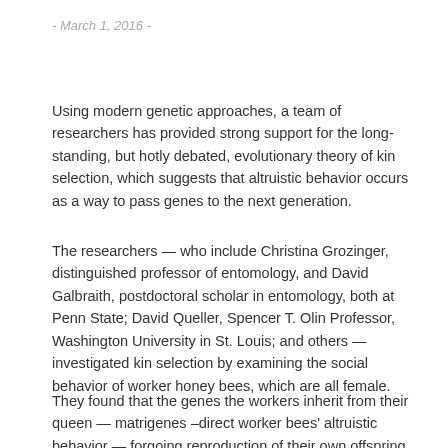- March 1, 2016 -
Using modern genetic approaches, a team of researchers has provided strong support for the long-standing, but hotly debated, evolutionary theory of kin selection, which suggests that altruistic behavior occurs as a way to pass genes to the next generation.
The researchers — who include Christina Grozinger, distinguished professor of entomology, and David Galbraith, postdoctoral scholar in entomology, both at Penn State; David Queller, Spencer T. Olin Professor, Washington University in St. Louis; and others — investigated kin selection by examining the social behavior of worker honey bees, which are all female.
They found that the genes the workers inherit from their queen — matrigenes –direct worker bees' altruistic behavior — forgoing reproduction of their own offspring to help raise their siblings. Wh